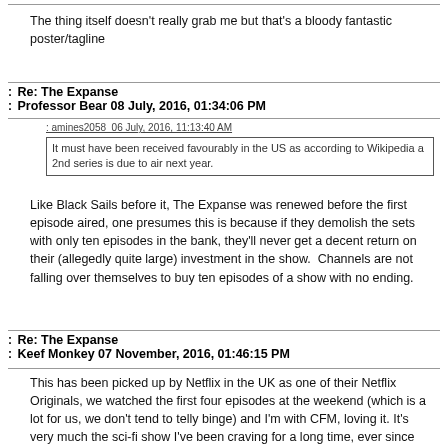The thing itself doesn't really grab me but that's a bloody fantastic poster/tagline
: Re: The Expanse
: Professor Bear 08 July, 2016, 01:34:06 PM
: amines2058  06 July, 2016, 11:13:40 AM
It must have been received favourably in the US as according to Wikipedia a 2nd series is due to air next year.
Like Black Sails before it, The Expanse was renewed before the first episode aired, one presumes this is because if they demolish the sets with only ten episodes in the bank, they'll never get a decent return on their (allegedly quite large) investment in the show.  Channels are not falling over themselves to buy ten episodes of a show with no ending.
: Re: The Expanse
: Keef Monkey 07 November, 2016, 01:46:15 PM
This has been picked up by Netflix in the UK as one of their Netflix Originals, we watched the first four episodes at the weekend (which is a lot for us, we don't tend to telly binge) and I'm with CFM, loving it. It's very much the sci-fi show I've been craving for a long time, ever since Battlestar ended. And if 'Tom Jane is an asteroid belt detective...' isn't the most enticing first line to a Netflix synopsis ever then I don't know what is.